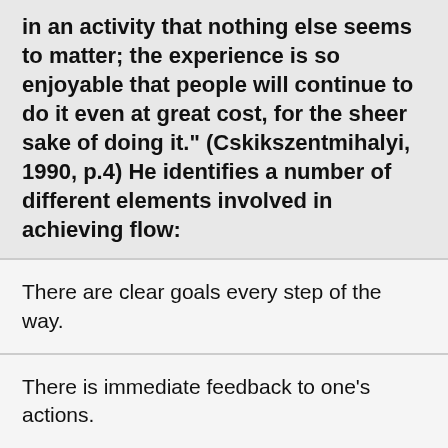in an activity that nothing else seems to matter; the experience is so enjoyable that people will continue to do it even at great cost, for the sheer sake of doing it." (Cskikszentmihalyi, 1990, p.4) He identifies a number of different elements involved in achieving flow:
There are clear goals every step of the way.
There is immediate feedback to one's actions.
There is a balance between challenges